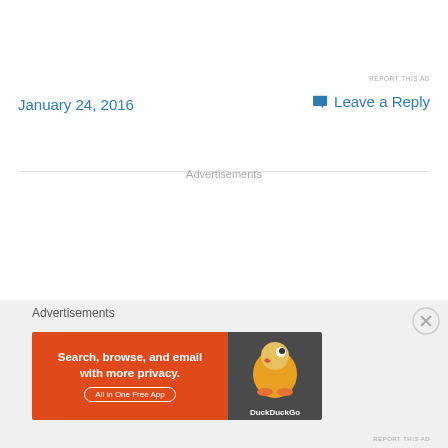REPORT THIS AD
January 24, 2016
Leave a Reply
Advertisements
Advertisements
[Figure (illustration): DuckDuckGo advertisement banner with orange left panel reading 'Search, browse, and email with more privacy. All in One Free App' and dark right panel with DuckDuckGo duck logo]
REPORT THIS AD